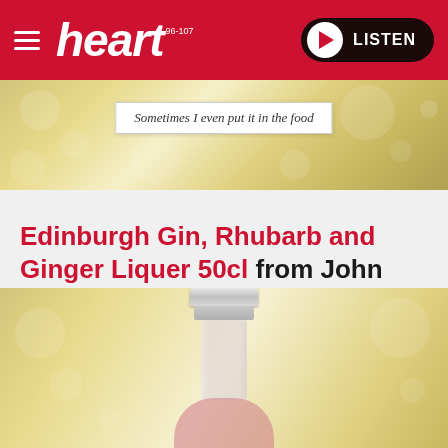heart 96-107 | LISTEN
[Figure (photo): Bokeh golden glitter background with a label reading 'Sometimes I even put it in the food']
Edinburgh Gin, Rhubarb and Ginger Liquer 50cl from John Lewis - £18
Fancy something a bit, well, fancier this Christmas? This flavoured gin liqueur from John Lewis is the perfect festive tipple.
[Figure (photo): Bottom portion of Edinburgh Gin Rhubarb and Ginger Liquer bottle showing neck and top of pink liquid against golden bokeh background]